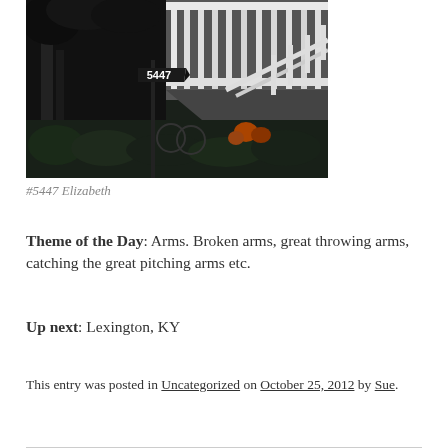[Figure (photo): Nighttime photo of a house exterior with white porch railing and a decorative address sign reading '5447' on a black metal post, with trees and garden in the foreground.]
#5447 Elizabeth
Theme of the Day: Arms.  Broken arms, great throwing arms, catching the great pitching arms etc.
Up next: Lexington, KY
This entry was posted in Uncategorized on October 25, 2012 by Sue.